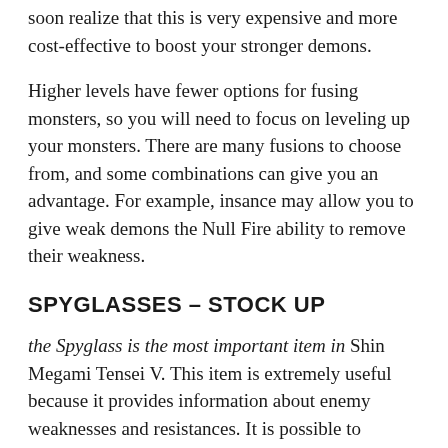soon realize that this is very expensive and more cost-effective to boost your stronger demons.
Higher levels have fewer options for fusing monsters, so you will need to focus on leveling up your monsters. There are many fusions to choose from, and some combinations can give you an advantage. For example, insance may allow you to give weak demons the Null Fire ability to remove their weakness.
SPYGLASSES – STOCK UP
the Spyglass is the most important item in Shin Megami Tensei V. This item is extremely useful because it provides information about enemy weaknesses and resistances. It is possible to identify weaknesses in an enemy and make or break an encounter. Even a small mistake can prove costly.
A Spyglass can make the difference between victory or